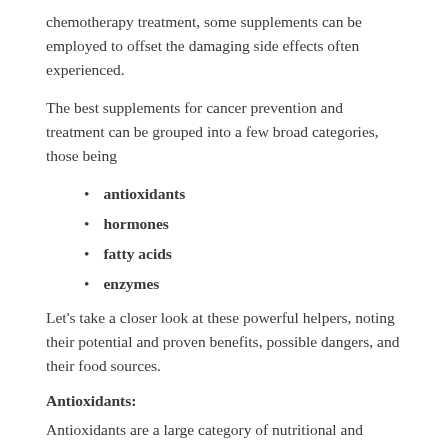chemotherapy treatment, some supplements can be employed to offset the damaging side effects often experienced.
The best supplements for cancer prevention and treatment can be grouped into a few broad categories, those being
antioxidants
hormones
fatty acids
enzymes
Let's take a closer look at these powerful helpers, noting their potential and proven benefits, possible dangers, and their food sources.
Antioxidants:
Antioxidants are a large category of nutritional and chemical substances that neutralize substances called free radicals.